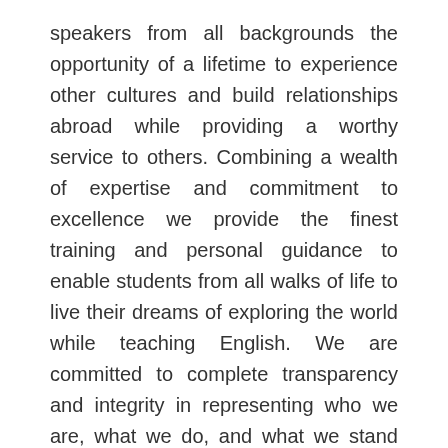speakers from all backgrounds the opportunity of a lifetime to experience other cultures and build relationships abroad while providing a worthy service to others. Combining a wealth of expertise and commitment to excellence we provide the finest training and personal guidance to enable students from all walks of life to live their dreams of exploring the world while teaching English. We are committed to complete transparency and integrity in representing who we are, what we do, and what we stand for.
[Figure (logo): ESL Authority logo: white star icon on dark grey background with 'ESL AUTHORITY' text in white bold letters]